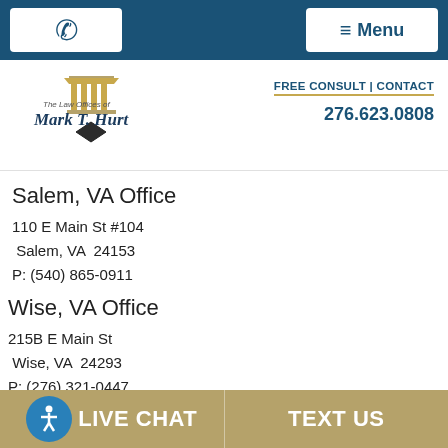Phone button | Menu
[Figure (logo): The Law Offices of Mark T. Hurt logo with building/column icon and diamond shape below]
FREE CONSULT | CONTACT
276.623.0808
Salem, VA Office
110 E Main St #104
 Salem, VA  24153
P: (540) 865-0911
Wise, VA Office
215B E Main St
 Wise, VA  24293
P: (276) 321-0447
LIVE CHAT | TEXT US